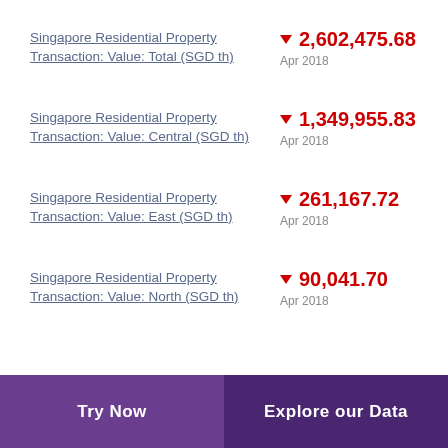Singapore Residential Property Transaction: Value: Total (SGD th) ▼ 2,602,475.68 Apr 2018
Singapore Residential Property Transaction: Value: Central (SGD th) ▼ 1,349,955.83 Apr 2018
Singapore Residential Property Transaction: Value: East (SGD th) ▼ 261,167.72 Apr 2018
Singapore Residential Property Transaction: Value: North (SGD th) ▼ 90,041.70 Apr 2018
Try Now    Explore our Data